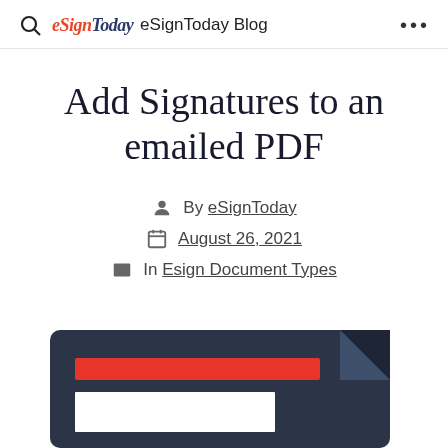eSignToday eSignToday Blog
Add Signatures to an emailed PDF
By eSignToday
August 26, 2021
In Esign Document Types
[Figure (illustration): Document/PDF icon illustration with a dark navy background, a red horizontal bar, and a white folded corner, partially visible at the bottom of the page.]